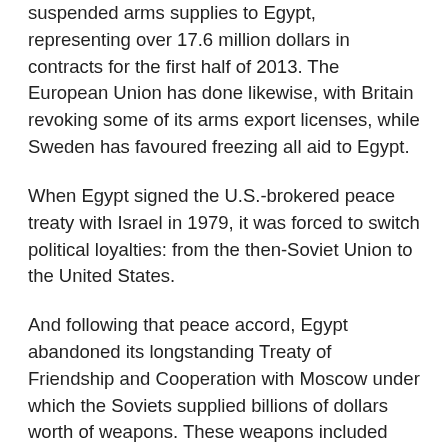suspended arms supplies to Egypt, representing over 17.6 million dollars in contracts for the first half of 2013. The European Union has done likewise, with Britain revoking some of its arms export licenses, while Sweden has favoured freezing all aid to Egypt.
When Egypt signed the U.S.-brokered peace treaty with Israel in 1979, it was forced to switch political loyalties: from the then-Soviet Union to the United States.
And following that peace accord, Egypt abandoned its longstanding Treaty of Friendship and Cooperation with Moscow under which the Soviets supplied billions of dollars worth of weapons. These weapons included MiG-21 fighter planes and reconnaisance aircraft, Mi-8 helicopters, Antonov military transports, SA-6 and SA-7 anti-ship missiles and T-54 and T-62 battle tanks.
In a wide-ranging military modernisaton programme over